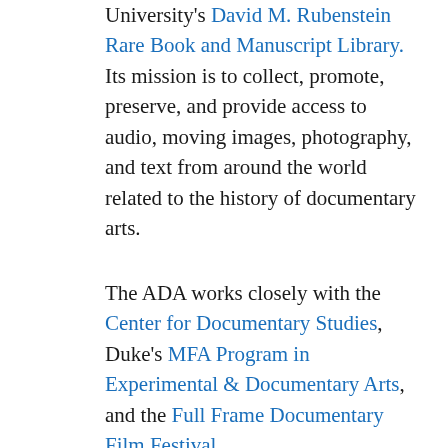University's David M. Rubenstein Rare Book and Manuscript Library. Its mission is to collect, promote, preserve, and provide access to audio, moving images, photography, and text from around the world related to the history of documentary arts.
The ADA works closely with the Center for Documentary Studies, Duke's MFA Program in Experimental & Documentary Arts, and the Full Frame Documentary Film Festival.
Read More »
News & Events
The Pretend Villages by Christopher Sims